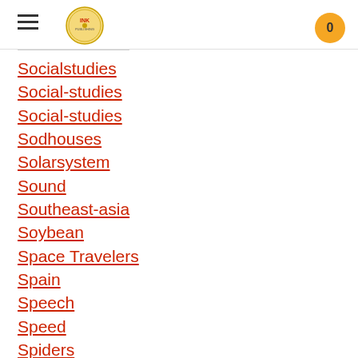INK [logo] | 0
Socialstudies
Social-studies
Social-studies
Sodhouses
Solarsystem
Sound
Southeast-asia
Soybean
Space Travelers
Spain
Speech
Speed
Spiders
Spies